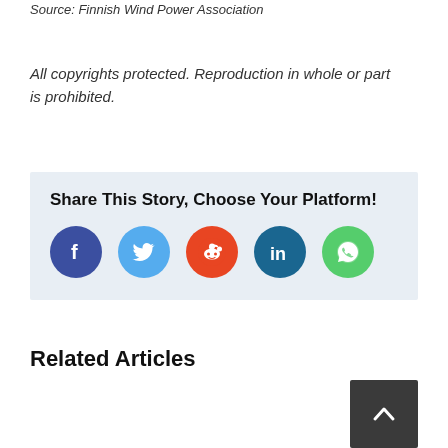Source: Finnish Wind Power Association
All copyrights protected. Reproduction in whole or part is prohibited.
[Figure (infographic): Share This Story, Choose Your Platform! box with social media icons: Facebook, Twitter, Reddit, LinkedIn, WhatsApp]
Related Articles